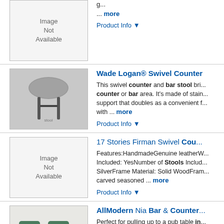[Figure (photo): Image Not Available placeholder box, top of page]
... more
Product Info ▼
Wade Logan® Swivel Counter
[Figure (photo): Photo of a swivel counter/bar stool with black legs and grey cushioned seat with open back design]
This swivel counter and bar stool bri... counter or bar area. It's made of stain... support that doubles as a convenient f... with ... more
Product Info ▼
17 Stories Firman Swivel Cou...
[Figure (photo): Image Not Available placeholder]
Features:HandmadeGenuine leatherW... Included: YesNumber of Stools Includ... SilverFrame Material: Solid WoodFram... carved seasoned ... more
Product Info ▼
AllModern Nia Bar & Counter
[Figure (photo): Photo of two green velvet bar stools with gold metal legs]
Perfect for pulling up to a pub table in... stationed around the kitchen island, st... one for example: crafted from metal, t... more
Product Info ▼
Trent Austin Design® Heim Ba...
[Figure (photo): Photo of a bar stool with faux leather seat and wooden legs in a room setting]
Modern minimalism meets mid-century... to-clean faux leather upholstery, this s... seat, and gently flared sides. Detail...